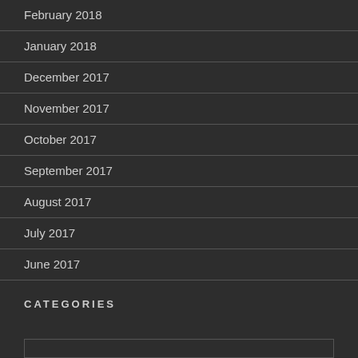February 2018
January 2018
December 2017
November 2017
October 2017
September 2017
August 2017
July 2017
June 2017
CATEGORIES